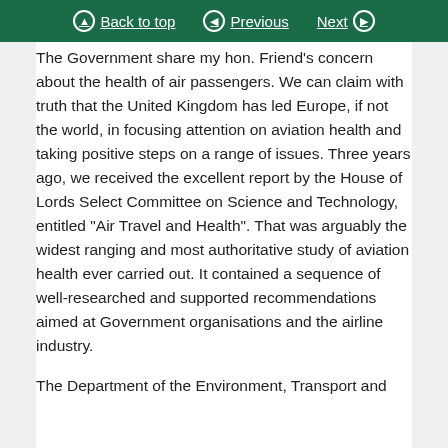Back to top | Previous | Next
The Government share my hon. Friend's concern about the health of air passengers. We can claim with truth that the United Kingdom has led Europe, if not the world, in focusing attention on aviation health and taking positive steps on a range of issues. Three years ago, we received the excellent report by the House of Lords Select Committee on Science and Technology, entitled "Air Travel and Health". That was arguably the widest ranging and most authoritative study of aviation health ever carried out. It contained a sequence of well-researched and supported recommendations aimed at Government organisations and the airline industry.
The Department of the Environment, Transport and